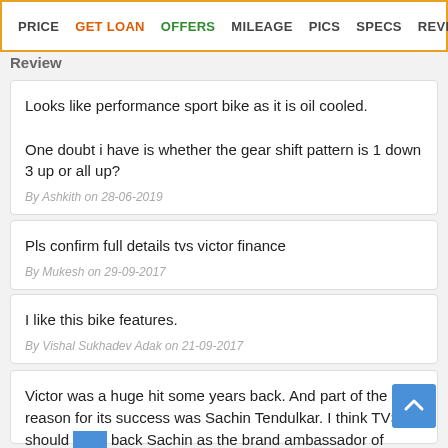PRICE  GET LOAN  OFFERS  MILEAGE  PICS  SPECS  REVIEW
Review
Looks like performance sport bike as it is oil cooled.
One doubt i have is whether the gear shift pattern is 1 down 3 up or all up?
By Ashkith on 28-06-2019
Pls confirm full details tvs victor finance
By Mukesh on 29-09-2017
I like this bike features.
By Vishal Sukhadev Adak on 21-09-2017
Victor was a huge hit some years back. And part of the reason for its success was Sachin Tendulkar. I think TVS should bring back Sachin as the brand ambassador of Victor.